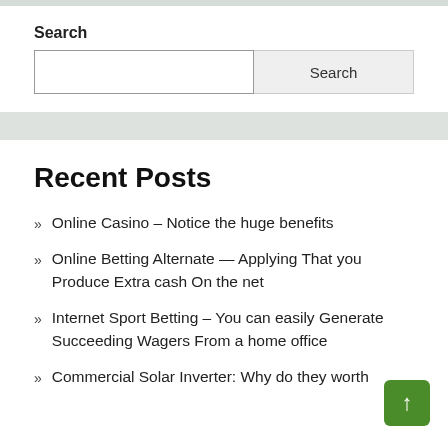Search
Search [input field] Search [button]
Recent Posts
Online Casino – Notice the huge benefits
Online Betting Alternate — Applying That you Produce Extra cash On the net
Internet Sport Betting – You can easily Generate Succeeding Wagers From a home office
Commercial Solar Inverter: Why do they worth